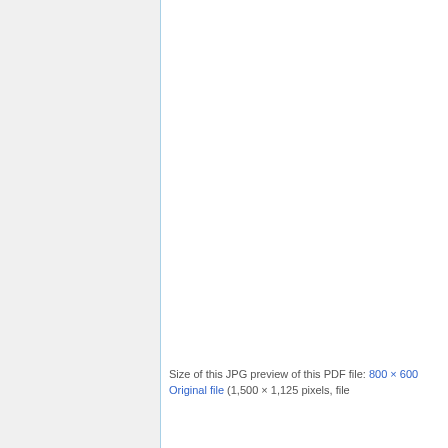Size of this JPG preview of this PDF file: 800 × 600
Original file (1,500 × 1,125 pixels, file